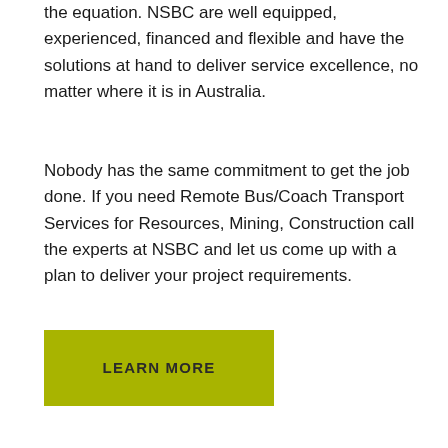the equation. NSBC are well equipped, experienced, financed and flexible and have the solutions at hand to deliver service excellence, no matter where it is in Australia.
Nobody has the same commitment to get the job done. If you need Remote Bus/Coach Transport Services for Resources, Mining, Construction call the experts at NSBC and let us come up with a plan to deliver your project requirements.
[Figure (other): A yellow-green rectangular button with bold uppercase text 'LEARN MORE']